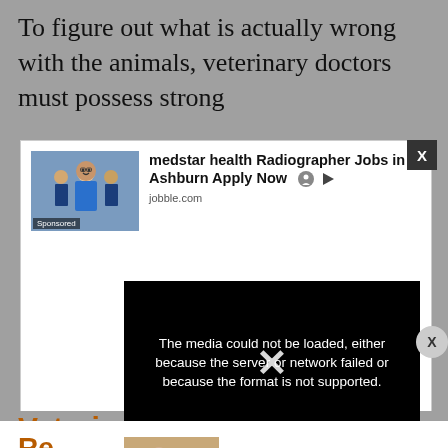To figure out what is actually wrong with the animals, veterinary doctors must possess strong
[Figure (screenshot): Advertisement box: medstar health Radiographer Jobs in Ashburn Apply Now, jobble.com, with sponsored image of medical professionals]
[Figure (screenshot): Video error overlay: The media could not be loaded, either because the server or network failed or because the format is not supported.]
Veterinarian
Re
[Figure (screenshot): Advertisement box: mantech international corporation Administrative., jobble.com, with sponsored image]